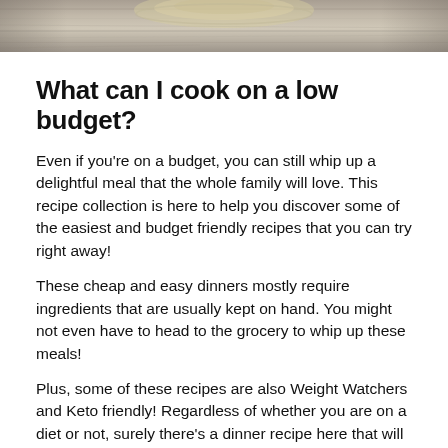[Figure (photo): A top-down photo of food on a rustic wooden surface, partially cropped at the top of the page.]
What can I cook on a low budget?
Even if you're on a budget, you can still whip up a delightful meal that the whole family will love. This recipe collection is here to help you discover some of the easiest and budget friendly recipes that you can try right away!
These cheap and easy dinners mostly require ingredients that are usually kept on hand. You might not even have to head to the grocery to whip up these meals!
Plus, some of these recipes are also Weight Watchers and Keto friendly! Regardless of whether you are on a diet or not, surely there's a dinner recipe here that will